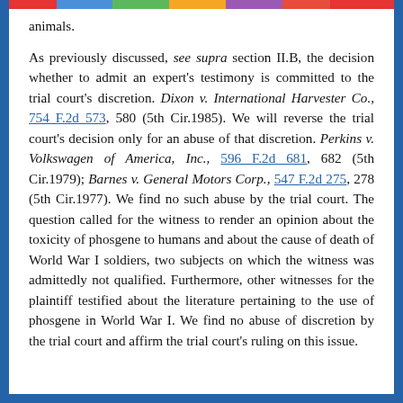animals.
As previously discussed, see supra section II.B, the decision whether to admit an expert's testimony is committed to the trial court's discretion. Dixon v. International Harvester Co., 754 F.2d 573, 580 (5th Cir.1985). We will reverse the trial court's decision only for an abuse of that discretion. Perkins v. Volkswagen of America, Inc., 596 F.2d 681, 682 (5th Cir.1979); Barnes v. General Motors Corp., 547 F.2d 275, 278 (5th Cir.1977). We find no such abuse by the trial court. The question called for the witness to render an opinion about the toxicity of phosgene to humans and about the cause of death of World War I soldiers, two subjects on which the witness was admittedly not qualified. Furthermore, other witnesses for the plaintiff testified about the literature pertaining to the use of phosgene in World War I. We find no abuse of discretion by the trial court and affirm the trial court's ruling on this issue.